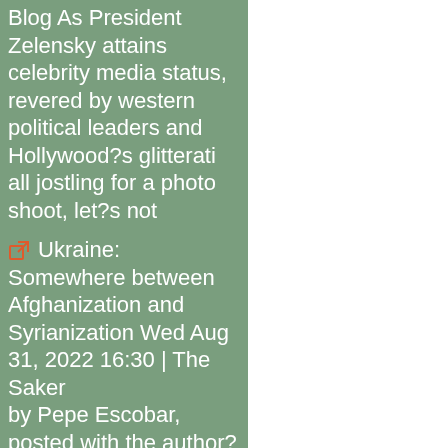Blog As President Zelensky attains celebrity media status, revered by western political leaders and Hollywood?s glitterati all jostling for a photo shoot, let?s not
Ukraine: Somewhere between Afghanization and Syrianization Wed Aug 31, 2022 16:30 | The Saker by Pepe Escobar, posted with the author?s permission and widely cross-posted Ukraine